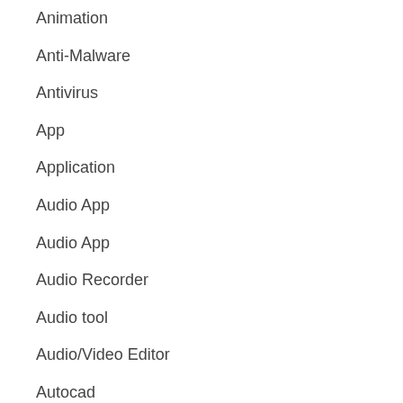Animation
Anti-Malware
Antivirus
App
Application
Audio App
Audio App
Audio Recorder
Audio tool
Audio/Video Editor
Autocad
Backup